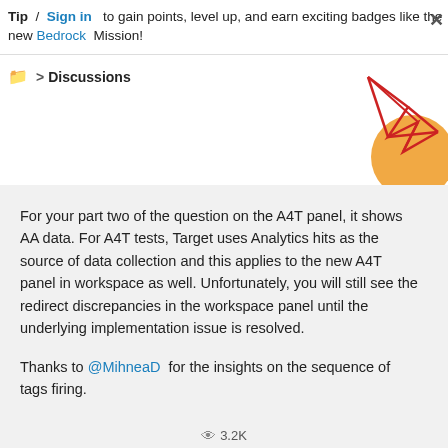Tip / Sign in to gain points, level up, and earn exciting badges like the new Bedrock Mission!
Discussions
[Figure (illustration): Decorative geometric illustration with red lines forming angular shapes and an orange circle in the top-right corner]
For your part two of the question on the A4T panel, it shows AA data. For A4T tests, Target uses Analytics hits as the source of data collection and this applies to the new A4T panel in workspace as well. Unfortunately, you will still see the redirect discrepancies in the workspace panel until the underlying implementation issue is resolved.
Thanks to @MihneaD for the insights on the sequence of tags firing.
3.2K